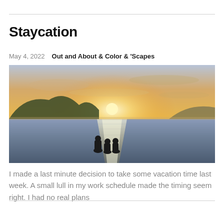Staycation
May 4, 2022   Out and About & Color & 'Scapes
[Figure (photo): Silhouettes of three people (appears to be a family) standing at the water's edge watching a golden sunset over a calm bay or lake, with forested hills on the left and distant mountains on the right.]
I made a last minute decision to take some vacation time last week. A small lull in my work schedule made the timing seem right. I had no real plans